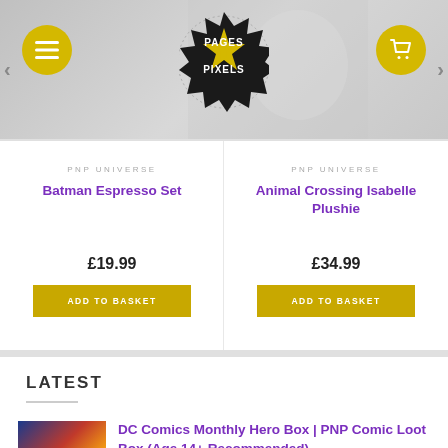[Figure (screenshot): Pages N Pixels website header with logo, hamburger menu button, and shopping cart button on a gray banner with product images]
PNP UNIVERSE
Batman Espresso Set
£19.99
ADD TO BASKET
PNP UNIVERSE
Animal Crossing Isabelle Plushie
£34.99
ADD TO BASKET
LATEST
DC Comics Monthly Hero Box | PNP Comic Loot Box (Age 14+ Recommended)